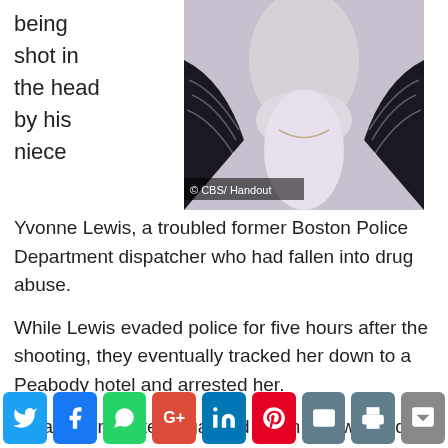being shot in the head by his niece
[Figure (photo): Photo of a person wearing a white turtleneck and a dark patterned cardigan, cropped to show neck/chest area. CBS/Handout watermark overlay.]
© CBS/ Handout
Yvonne Lewis, a troubled former Boston Police Department dispatcher who had fallen into drug abuse.
While Lewis evaded police for five hours after the shooting, they eventually tracked her down to a Peabody hotel and arrested her.
Relatives reportedly gasped when she was led into the courtroom on Monday, looking frail, with her head hanging and wearing a hospital gown.
Social share bar: Twitter, Facebook, WhatsApp, Google+, LinkedIn, Pinterest, Email, Print, Save